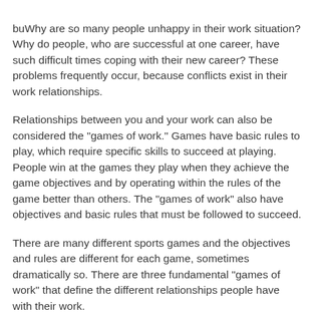buWhy are so many people unhappy in their work situation? Why do people, who are successful at one career, have such difficult times coping with their new career? These problems frequently occur, because conflicts exist in their work relationships.
Relationships between you and your work can also be considered the "games of work." Games have basic rules to play, which require specific skills to succeed at playing. People win at the games they play when they achieve the game objectives and by operating within the rules of the game better than others. The "games of work" also have objectives and basic rules that must be followed to succeed.
There are many different sports games and the objectives and rules are different for each game, sometimes dramatically so. There are three fundamental "games of work" that define the different relationships people have with their work.